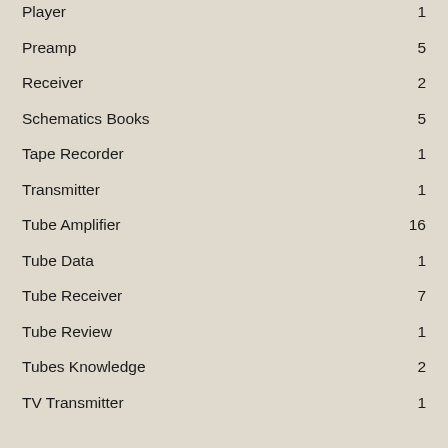Player  1
Preamp  5
Receiver  2
Schematics Books  5
Tape Recorder  1
Transmitter  1
Tube Amplifier  16
Tube Data  1
Tube Receiver  7
Tube Review  1
Tubes Knowledge  2
TV Transmitter  1